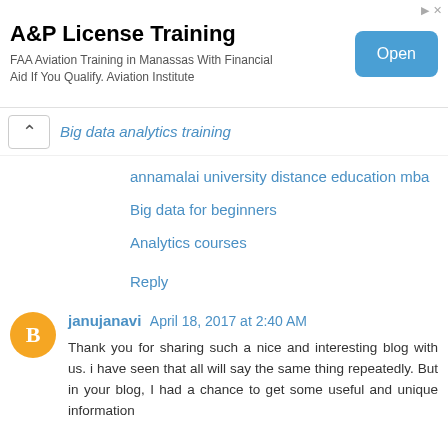[Figure (other): Advertisement banner for A&P License Training. Title: 'A&P License Training'. Description: 'FAA Aviation Training in Manassas With Financial Aid If You Qualify. Aviation Institute'. Blue 'Open' button on the right.]
Big data analytics training
annamalai university distance education mba
Big data for beginners
Analytics courses
Reply
janujanavi April 18, 2017 at 2:40 AM
Thank you for sharing such a nice and interesting blog with us. i have seen that all will say the same thing repeatedly. But in your blog, I had a chance to get some useful and unique information